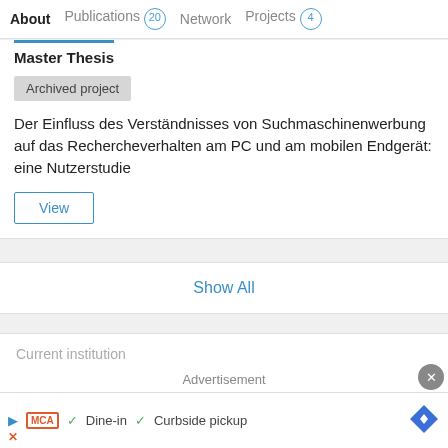About   Publications 20   Network   Projects 4
Master Thesis
Archived project
Der Einfluss des Verständnisses von Suchmaschinenwerbung auf das Rechercheverhalten am PC und am mobilen Endgerät: eine Nutzerstudie
View
Show All
Current institution
Advertisement
[Figure (screenshot): Advertisement bar with MCA logo, Dine-in and Curbside pickup options, and navigation icon]